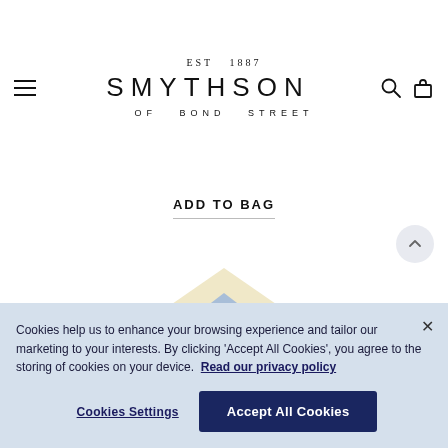EST 1887 SMYTHSON OF BOND STREET
ADD TO BAG
[Figure (photo): Partial view of a Smythson product (envelope or notebook) showing cream and blue triangular/chevron design, partially visible at the bottom of the page]
Cookies help us to enhance your browsing experience and tailor our marketing to your interests. By clicking 'Accept All Cookies', you agree to the storing of cookies on your device. Read our privacy policy
Cookies Settings
Accept All Cookies